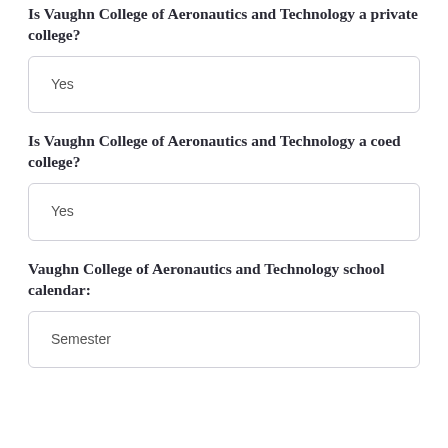Is Vaughn College of Aeronautics and Technology a private college?
Yes
Is Vaughn College of Aeronautics and Technology a coed college?
Yes
Vaughn College of Aeronautics and Technology school calendar:
Semester